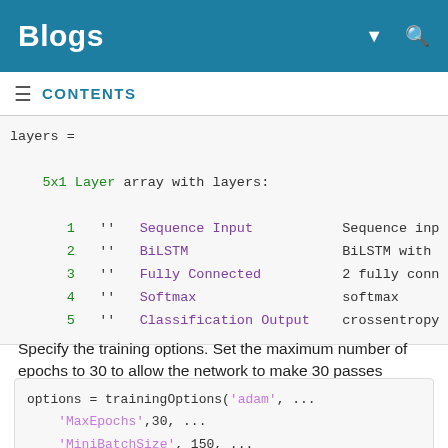Blogs
CONTENTS
layers =

    5x1 Layer array with layers:

       1   ''   Sequence Input     Sequence inp
       2   ''   BiLSTM             BiLSTM with
       3   ''   Fully Connected    2 fully conn
       4   ''   Softmax            softmax
       5   ''   Classification Output   crossentropy
Specify the training options. Set the maximum number of epochs to 30 to allow the network to make 30 passes through the training data.
options = trainingOptions('adam', ...
    'MaxEpochs',30, ...
    'MiniBatchSize', 150, ...
    'InitialLearnRate', 0.01, ...
    'GradientThreshold', 1, ...
    'plots','training-progress', ...